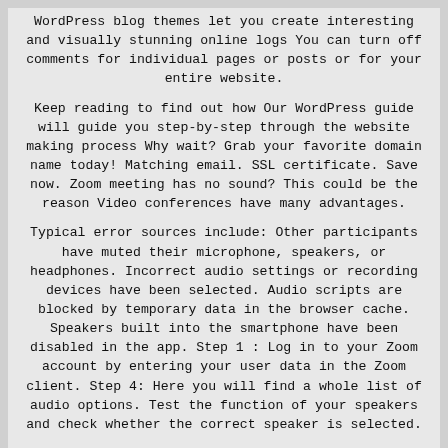WordPress blog themes let you create interesting and visually stunning online logs You can turn off comments for individual pages or posts or for your entire website.
Keep reading to find out how Our WordPress guide will guide you step-by-step through the website making process Why wait? Grab your favorite domain name today! Matching email. SSL certificate. Save now. Zoom meeting has no sound? This could be the reason Video conferences have many advantages.
Typical error sources include: Other participants have muted their microphone, speakers, or headphones. Incorrect audio settings or recording devices have been selected. Audio scripts are blocked by temporary data in the browser cache. Speakers built into the smartphone have been disabled in the app. Step 1 : Log in to your Zoom account by entering your user data in the Zoom client. Step 4: Here you will find a whole list of audio options. Test the function of your speakers and check whether the correct speaker is selected.